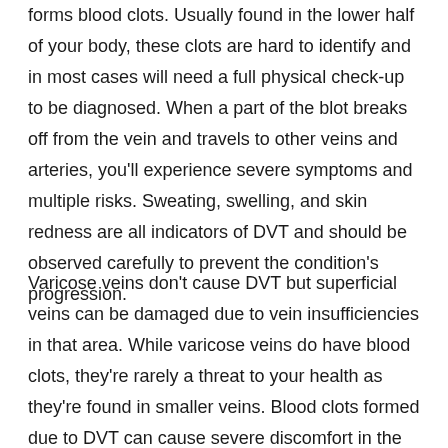forms blood clots. Usually found in the lower half of your body, these clots are hard to identify and in most cases will need a full physical check-up to be diagnosed. When a part of the blot breaks off from the vein and travels to other veins and arteries, you'll experience severe symptoms and multiple risks. Sweating, swelling, and skin redness are all indicators of DVT and should be observed carefully to prevent the condition's progression.
Varicose veins don't cause DVT but superficial veins can be damaged due to vein insufficiencies in that area. While varicose veins do have blood clots, they're rarely a threat to your health as they're found in smaller veins. Blood clots formed due to DVT can cause severe discomfort in the area and can even cause immobility in